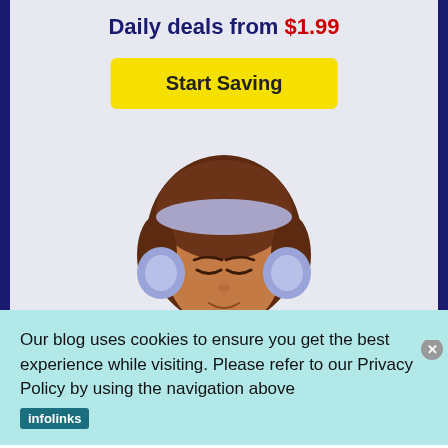Daily deals from $1.99
Start Saving
[Figure (illustration): Cartoon illustration of a young woman with brown hair wearing lavender/blue headphones, eyes closed, listening to music]
Our blog uses cookies to ensure you get the best experience while visiting. Please refer to our Privacy Policy by using the navigation above
infolinks
[Figure (photo): MAC cosmetics advertisement banner showing lipsticks in purple, pink, and red colors with MAC logo and SHOP NOW button]